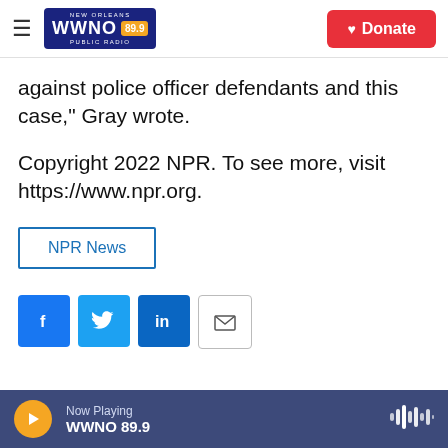WWNO 89.9 New Orleans Public Radio — Donate
against police officer defendants and this case," Gray wrote.
Copyright 2022 NPR. To see more, visit https://www.npr.org.
NPR News
[Figure (other): Social sharing icons: Facebook, Twitter, LinkedIn, Email]
The Associated Press
Now Playing WWNO 89.9